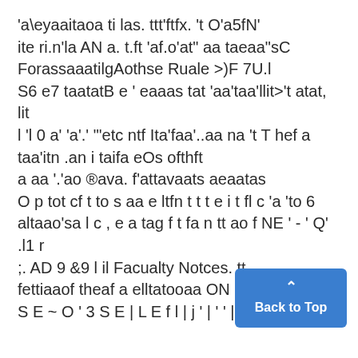'a\eyaaitaoa ti las. ttt'ftfx. 't O'a5fN' ite ri.n'la AN a. t.ft 'af.o'at" aa taeaa"sC ForassaaatilgAothse Ruale >)F 7U.l S6 e7 taatatB e ' eaaas tat 'aa'taa'llit>'t atat, lit l 'l 0 a' 'a'.' "'etc ntf Ita'faa'..aa na 't T hef a taa'itn .an i taifa eOs ofthft a aa '.'ao ®ava. f'attavaats aeaatas O p tot cf t to s aa e ltfn t t t e i t fl c 'a 'to 6 altaao'sa l c , e a tag f t fa n tt ao f NE ' - ' Q' .l1 r ;. AD 9 &9 l il Facualty Notces. tt fettaaof theaf a elltatooaa ON S E ~ O ' 3 S E | L E f l | j ' | ' ' | ) ii
[Figure (other): Blue 'Back to Top' button with upward caret arrow in bottom-right corner]